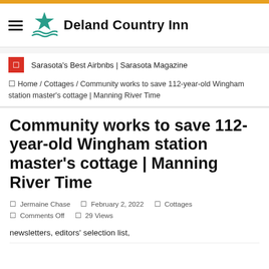Deland Country Inn
Sarasota's Best Airbnbs | Sarasota Magazine
Home / Cottages / Community works to save 112-year-old Wingham station master's cottage | Manning River Time
Community works to save 112-year-old Wingham station master's cottage | Manning River Time
Jermaine Chase   February 2, 2022   Cottages   Comments Off   29 Views
newsletters, editors' selection list,